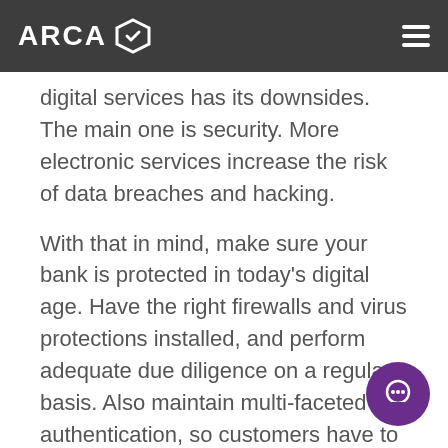ARCA
digital services has its downsides. The main one is security. More electronic services increase the risk of data breaches and hacking.
With that in mind, make sure your bank is protected in today's digital age. Have the right firewalls and virus protections installed, and perform adequate due diligence on a regular basis. Also maintain multi-faceted authentication, so customers have to provide their passwords, their usernames and even answer a question to access their accounts.